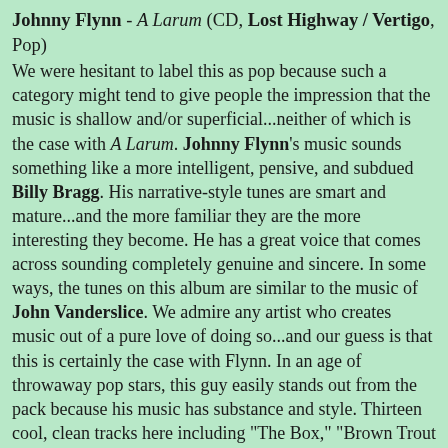Johnny Flynn - A Larum (CD, Lost Highway / Vertigo, Pop)
We were hesitant to label this as pop because such a category might tend to give people the impression that the music is shallow and/or superficial...neither of which is the case with A Larum. Johnny Flynn's music sounds something like a more intelligent, pensive, and subdued Billy Bragg. His narrative-style tunes are smart and mature...and the more familiar they are the more interesting they become. He has a great voice that comes across sounding completely genuine and sincere. In some ways, the tunes on this album are similar to the music of John Vanderslice. We admire any artist who creates music out of a pure love of doing so...and our guess is that this is certainly the case with Flynn. In an age of throwaway pop stars, this guy easily stands out from the pack because his music has substance and style. Thirteen cool, clean tracks here including "The Box," "Brown Trout Blues," "Wayne Rooney," and "All the Dogs Are Lying Down." (Rating: 5)
[Figure (illustration): Five small cartoon/mascot figures in a row, resembling round characters with ears/horns, rendered in black ink style]